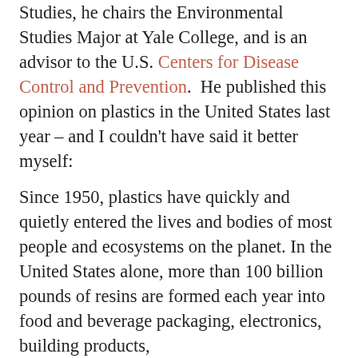School of Forestry & Environmental Studies, he chairs the Environmental Studies Major at Yale College, and is an advisor to the U.S. Centers for Disease Control and Prevention.  He published this opinion on plastics in the United States last year – and I couldn't have said it better myself:
Since 1950, plastics have quickly and quietly entered the lives and bodies of most people and ecosystems on the planet. In the United States alone, more than 100 billion pounds of resins are formed each year into food and beverage packaging, electronics, building products,